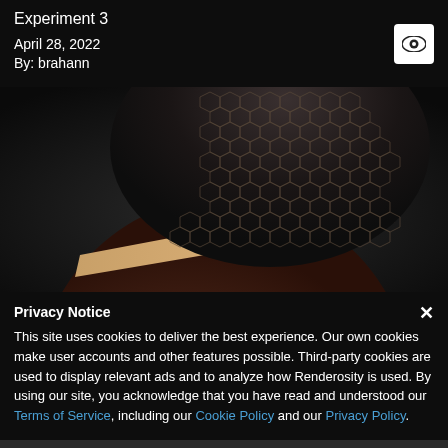Experiment 3
April 28, 2022
By: brahann
[Figure (photo): Close-up render of a sphere or dome-shaped object with a honeycomb/mesh texture on the upper half and smooth dark leather-like surface on the lower half, with a tan/beige band separating the two sections. Dark background.]
Privacy Notice
This site uses cookies to deliver the best experience. Our own cookies make user accounts and other features possible. Third-party cookies are used to display relevant ads and to analyze how Renderosity is used. By using our site, you acknowledge that you have read and understood our Terms of Service, including our Cookie Policy and our Privacy Policy.